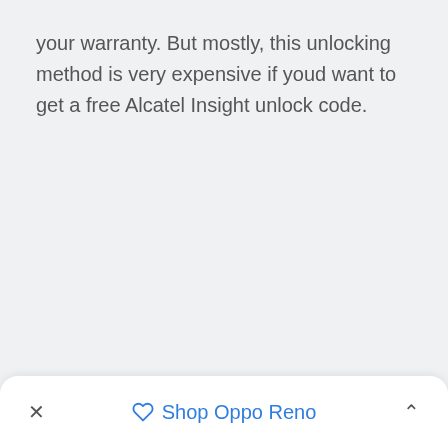your warranty. But mostly, this unlocking method is very expensive if youd want to get a free Alcatel Insight unlock code.
✕   🏷 Shop Oppo Reno   ∧